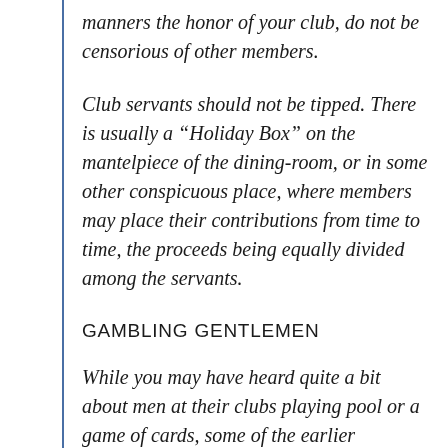manners the honor of your club, do not be censorious of other members.
Club servants should not be tipped. There is usually a “Holiday Box” on the mantelpiece of the dining-room, or in some other conspicuous place, where members may place their contributions from time to time, the proceeds being equally divided among the servants.
GAMBLING GENTLEMEN
While you may have heard quite a bit about men at their clubs playing pool or a game of cards, some of the earlier renditions of these establishments also